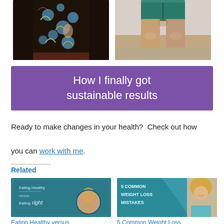[Figure (photo): Two before/after photos side by side. Left: person wearing floral black dress. Right: person's legs in teal shorts.]
How I finally got sustainable results
Ready to make changes in your health?  Check out how you can work with me.
Related
[Figure (photo): Thumbnail image: teal background with text 'Eating Healthy versus Eating right' and circular portrait of woman]
Eating Healthy versus
[Figure (photo): Thumbnail image: teal background with text '5 COMMON WEIGHT LOSS MISTAKES' and photo of blonde woman]
5 Common Weight Loss